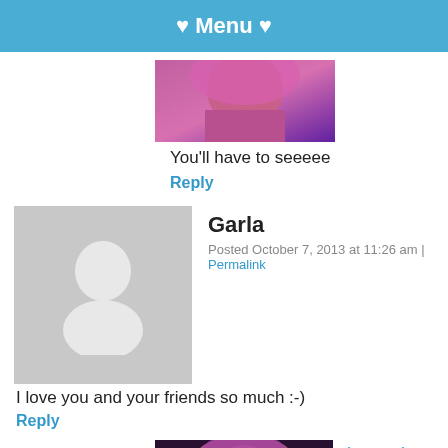♥ Menu ♥
[Figure (photo): Partial avatar photo of person with pink/purple hair, cropped at top]
You'll have to seeeee
Reply
[Figure (photo): Gray placeholder avatar silhouette icon]
Garla
Posted October 7, 2013 at 11:26 am | Permalink
I love you and your friends so much :-)
Reply
[Figure (photo): Avatar photo of lacarmina with pink hair]
lacarmina
Posted October 9, 2013 at 5:31 pm | Permalink
[Figure (infographic): Social media share icons: Facebook, Twitter, Pinterest, LinkedIn]